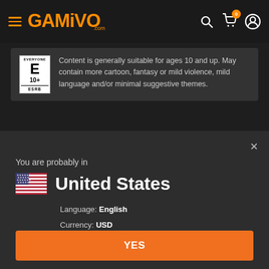GAMIVO.com — navigation header with hamburger menu, logo, search, cart (0), and account icons
[Figure (screenshot): ESRB E10+ rating badge alongside description text]
Content is generally suitable for ages 10 and up. May contain more cartoon, fantasy or mild violence, mild language and/or minimal suggestive themes.
You are probably in
United States
Language: English
Currency: USD
Switch to the local version of the website?
YES